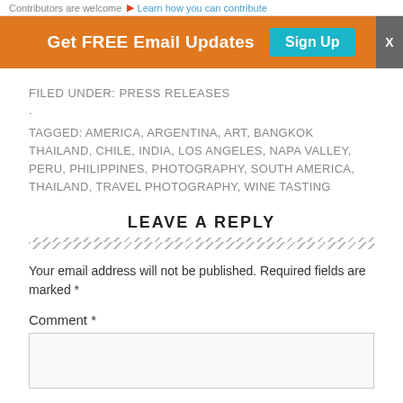Contributors are welcome ▶ Learn how you can contribute
Get FREE Email Updates  Sign Up
FILED UNDER: PRESS RELEASES
.
TAGGED: AMERICA, ARGENTINA, ART, BANGKOK THAILAND, CHILE, INDIA, LOS ANGELES, NAPA VALLEY, PERU, PHILIPPINES, PHOTOGRAPHY, SOUTH AMERICA, THAILAND, TRAVEL PHOTOGRAPHY, WINE TASTING
LEAVE A REPLY
Your email address will not be published. Required fields are marked *
Comment *